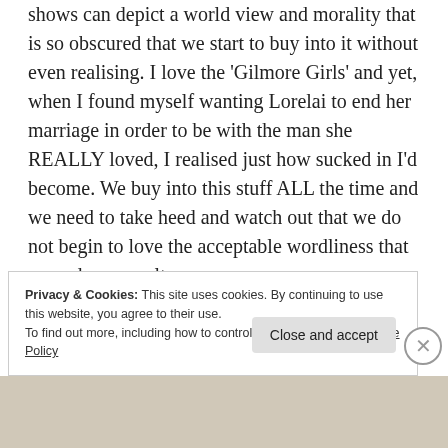shows can depict a world view and morality that is so obscured that we start to buy into it without even realising. I love the 'Gilmore Girls' and yet, when I found myself wanting Lorelai to end her marriage in order to be with the man she REALLY loved, I realised just how sucked in I'd become. We buy into this stuff ALL the time and we need to take heed and watch out that we do not begin to love the acceptable wordliness that pervades our culture.
Privacy & Cookies: This site uses cookies. By continuing to use this website, you agree to their use.
To find out more, including how to control cookies, see here: Cookie Policy
Close and accept